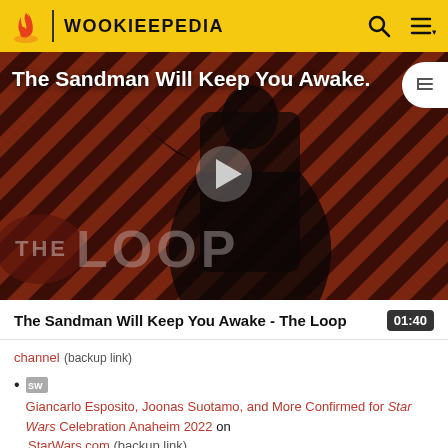WOOKIEEPEDIA
[Figure (screenshot): Video thumbnail for 'The Sandman Will Keep You Awake - The Loop' showing a dark-cloaked figure against a red and black diagonal striped background with 'THE LOOP' text overlay and a play button in the center]
The Sandman Will Keep You Awake - The Loop  01:40
channel (backup link)
SW Giancarlo Esposito, Joonas Suotamo, and More Confirmed for Star Wars Celebration Anaheim 2022 on StarWars.com (backup link)